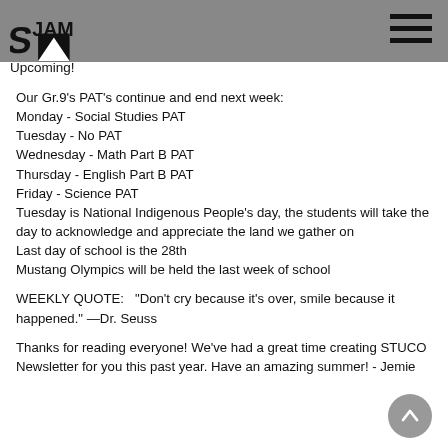[Figure (logo): SJAM school logo in black and white on grey header bar]
Upcoming!
Our Gr.9's PAT's continue and end next week:
Monday - Social Studies PAT
Tuesday - No PAT
Wednesday - Math Part B PAT
Thursday - English Part B PAT
Friday - Science PAT
Tuesday is National Indigenous People's day, the students will take the day to acknowledge and appreciate the land we gather on
Last day of school is the 28th
Mustang Olympics will be held the last week of school
WEEKLY QUOTE:   “Don’t cry because it’s over, smile because it happened.” —Dr. Seuss
Thanks for reading everyone! We’ve had a great time creating STUCO Newsletter for you this past year. Have an amazing summer! - Jemie